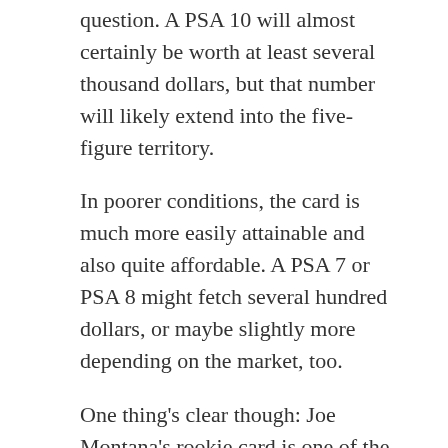question. A PSA 10 will almost certainly be worth at least several thousand dollars, but that number will likely extend into the five-figure territory.
In poorer conditions, the card is much more easily attainable and also quite affordable. A PSA 7 or PSA 8 might fetch several hundred dollars, or maybe slightly more depending on the market, too.
One thing's clear though: Joe Montana's rookie card is one of the most expensive cards from the 1980s.
How Do You Tell if a Joe Montana Rookie Card is a Reprint?
It's quite easy to spot a reprint. The first clue should be if the card is graded or not – if it is, it's near impossible that it is a fake. Then, also look for the card stock. If a card's reprinted, then the stock tends to be a bit shinier and it might even seem too good for the time it's from. Observe other visual clues such